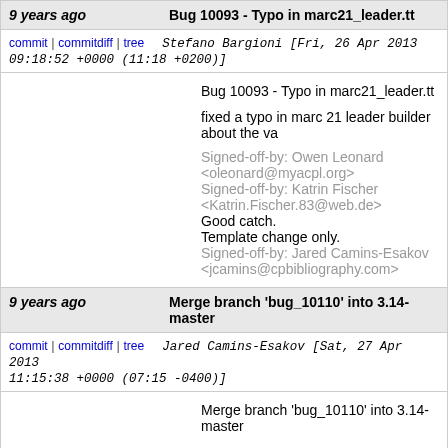9 years ago | Bug 10093 - Typo in marc21_leader.tt
commit | commitdiff | tree   Stefano Bargioni [Fri, 26 Apr 2013 09:18:52 +0000 (11:18 +0200)]
Bug 10093 - Typo in marc21_leader.tt

fixed a typo in marc 21 leader builder about the va

Signed-off-by: Owen Leonard <oleonard@myacpl.org>
Signed-off-by: Katrin Fischer <Katrin.Fischer.83@web.de>
Good catch.
Template change only.
Signed-off-by: Jared Camins-Esakov <jcamins@cpbibliography.com>
9 years ago | Merge branch 'bug_10110' into 3.14-master
commit | commitdiff | tree   Jared Camins-Esakov [Sat, 27 Apr 2013 11:15:38 +0000 (07:15 -0400)]
Merge branch 'bug_10110' into 3.14-master
9 years ago | Bug 10110 Followup for Acquisition.pm
commit | commitdiff | tree   Marcel de Rooy [Thu, 25 Apr 2013 12:48:03 +0000 (14:48 +0200)]